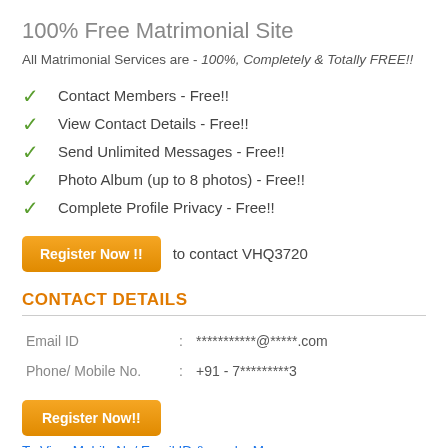100% Free Matrimonial Site
All Matrimonial Services are - 100%, Completely & Totally FREE!!
Contact Members - Free!!
View Contact Details - Free!!
Send Unlimited Messages - Free!!
Photo Album (up to 8 photos) - Free!!
Complete Profile Privacy - Free!!
Register Now !! to contact VHQ3720
CONTACT DETAILS
| Field | : | Value |
| --- | --- | --- |
| Email ID | : | ***********@*****.com |
| Phone/ Mobile No. | : | +91 - 7*********3 |
Register Now!!
To View Mobile No/ Email ID & send a Message